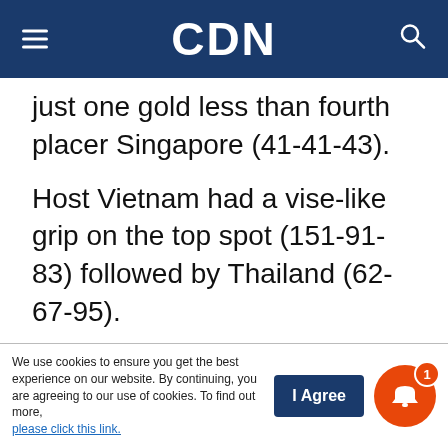CDN
just one gold less than fourth placer Singapore (41-41-43).
Host Vietnam had a vise-like grip on the top spot (151-91-83) followed by Thailand (62-67-95).
“These last three days will be critical. But having seen our athletes perform for the past few days, I am very sure our remaining national athletes will give their all-out effort since they will not want their flag and country down,” added Fernandez.
We use cookies to ensure you get the best experience on our website. By continuing, you are agreeing to our use of cookies. To find out more, please click this link.